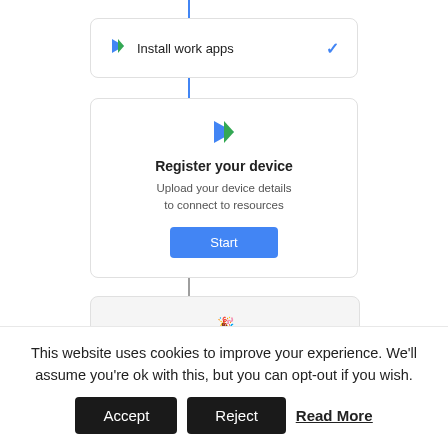[Figure (screenshot): Mobile app enrollment flow showing: 'Install work apps' step with blue checkmark (completed), 'Register your device' card with Play Store icon, subtitle 'Upload your device details to connect to resources', and a blue 'Start' button. Below is a greyed-out 'You're ready for work!' card. Blue dot and back arrow navigation visible.]
This website uses cookies to improve your experience. We'll assume you're ok with this, but you can opt-out if you wish.
Accept   Reject   Read More